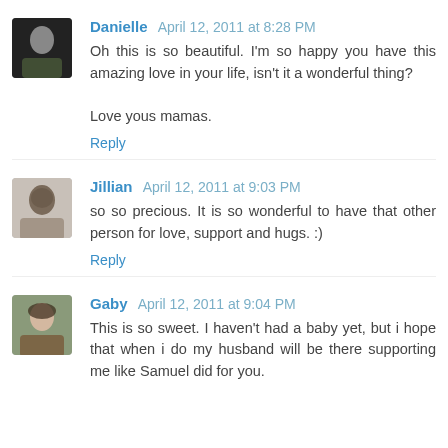Danielle April 12, 2011 at 8:28 PM
Oh this is so beautiful. I'm so happy you have this amazing love in your life, isn't it a wonderful thing?

Love yous mamas.
Reply
Jillian April 12, 2011 at 9:03 PM
so so precious. It is so wonderful to have that other person for love, support and hugs. :)
Reply
Gaby April 12, 2011 at 9:04 PM
This is so sweet. I haven't had a baby yet, but i hope that when i do my husband will be there supporting me like Samuel did for you.